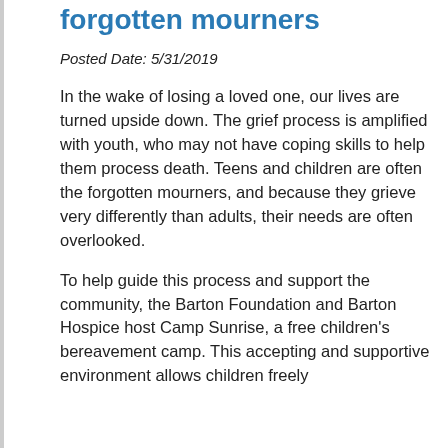forgotten mourners
Posted Date: 5/31/2019
In the wake of losing a loved one, our lives are turned upside down. The grief process is amplified with youth, who may not have coping skills to help them process death. Teens and children are often the forgotten mourners, and because they grieve very differently than adults, their needs are often overlooked.
To help guide this process and support the community, the Barton Foundation and Barton Hospice host Camp Sunrise, a free children's bereavement camp. This accepting and supportive environment allows children freely